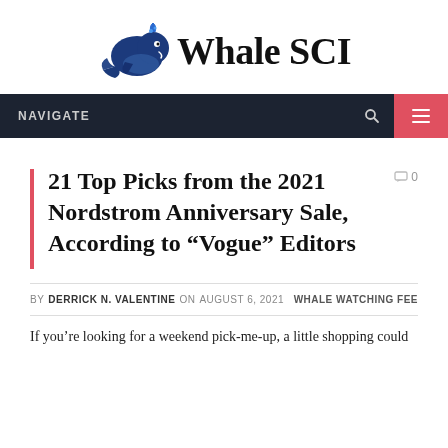[Figure (logo): Whale SCI logo: a dark blue whale cartoon icon next to bold serif text 'Whale SCI']
NAVIGATE
21 Top Picks from the 2021 Nordstrom Anniversary Sale, According to “Vogue” Editors
BY DERRICK N. VALENTINE ON AUGUST 6, 2021   WHALE WATCHING FEE
If you’re looking for a weekend pick-me-up, a little shopping could